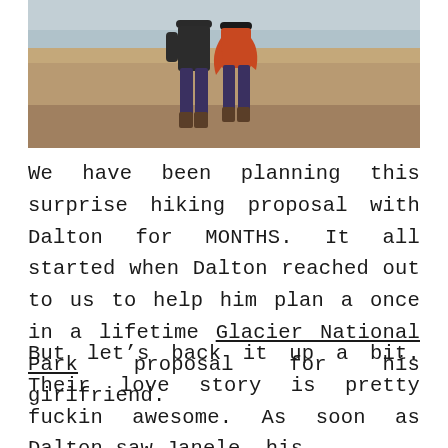[Figure (photo): A couple standing outdoors on gravelly ground near water. The woman on the right wears a bright orange/red garment. Both are facing away from the camera, wearing jeans and boots.]
We have been planning this surprise hiking proposal with Dalton for MONTHS. It all started when Dalton reached out to us to help him plan a once in a lifetime Glacier National Park proposal for his girlfriend.
But let’s back it up a bit. Their love story is pretty fuckin awesome. As soon as Dalton saw Janele, his